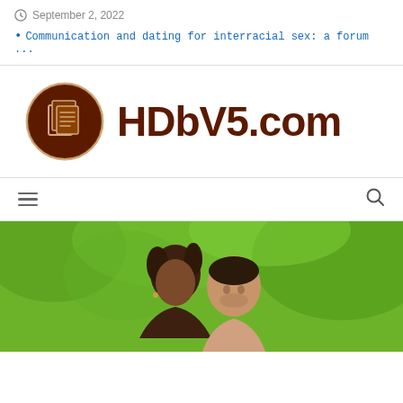September 2, 2022
Communication and dating for interracial sex: a forum ...
[Figure (logo): HDbV5.com logo with brown circle containing document icon and text HDbV5.com in dark brown bold font]
[Figure (photo): Photo of an interracial couple outdoors with green foliage background, woman with braids in foreground, man behind her]